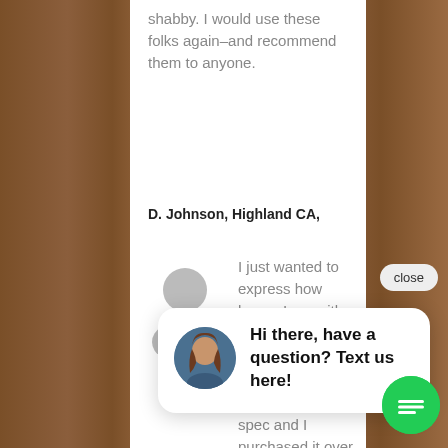shabby. I would use these folks again–and recommend them to anyone.
D. Johnson, Highland CA,
[Figure (illustration): Gray silhouette avatar placeholder for user]
I just wanted to express how happy I am with my purchases of sheds. First, I
close
[Figure (screenshot): Chat popup with woman avatar saying 'Hi there, have a question? Text us here!']
spec and I purchased it over the phone with him. The shed was put up that Saturday in